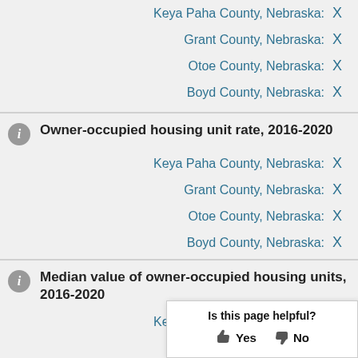Keya Paha County, Nebraska: X
Grant County, Nebraska: X
Otoe County, Nebraska: X
Boyd County, Nebraska: X
Owner-occupied housing unit rate, 2016-2020
Keya Paha County, Nebraska: X
Grant County, Nebraska: X
Otoe County, Nebraska: X
Boyd County, Nebraska: X
Median value of owner-occupied housing units, 2016-2020
Keya Paha County, Nebraska: X
Grant County, Nebraska: X
Otoe County, Nebraska: X
Boyd County, Nebraska: X